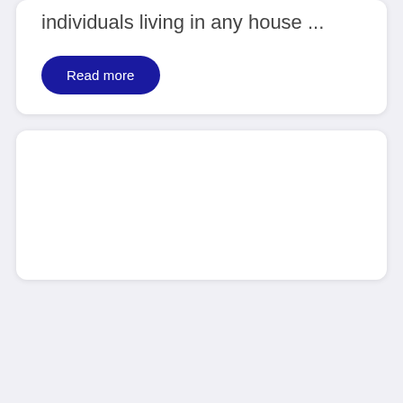individuals living in any house ...
Read more